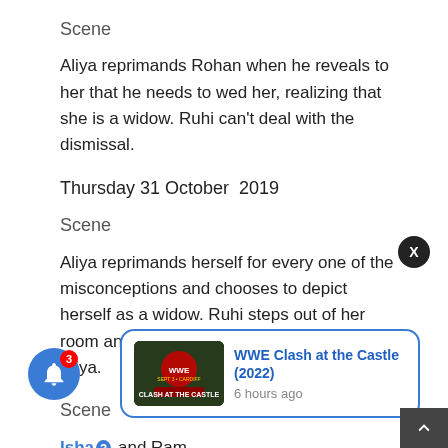Scene
Aliya reprimands Rohan when he reveals to her that he needs to wed her, realizing that she is a widow. Ruhi can't deal with the dismissal.
Thursday 31 October  2019
Scene
Aliya reprimands herself for every one of the misconceptions and chooses to depict herself as a widow. Ruhi steps out of her room and does the incomprehensible to Aliya.
Scene
Ishan and Ram ... for Aliya's ... Rohan meets Aliya in a lodging and communicates his ...
[Figure (screenshot): WWE Clash at the Castle (2022) notification card with thumbnail showing WWE event poster, title in blue, and '6 hours ago' timestamp]
[Figure (other): Blue notification bell icon with red badge showing number 3]